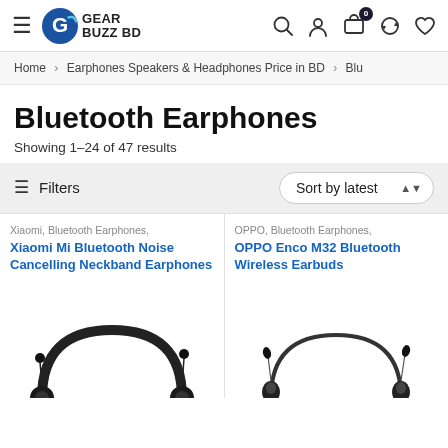Gear Buzz BD — site navigation header with hamburger menu, logo, search, account, cart (0), compare, and wishlist icons
Home > Earphones Speakers & Headphones Price in BD > Blu…
Bluetooth Earphones
Showing 1–24 of 47 results
Filters  |  Sort by latest
Xiaomi, Bluetooth Earphones,
Xiaomi Mi Bluetooth Noise Cancelling Neckband Earphones
[Figure (photo): Xiaomi Mi Bluetooth Noise Cancelling Neckband Earphones product photo on white background]
OPPO, Bluetooth Earphones,
OPPO Enco M32 Bluetooth Wireless Earbuds
[Figure (photo): OPPO Enco M32 Bluetooth Wireless Earbuds product photo on white background]